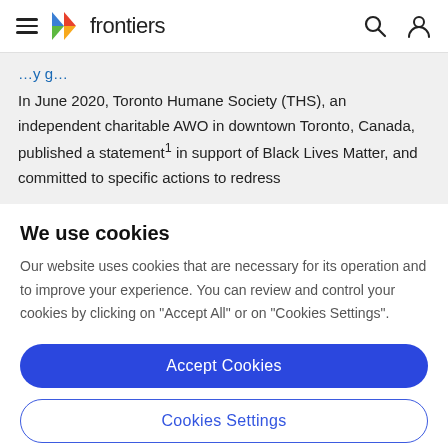frontiers
In June 2020, Toronto Humane Society (THS), an independent charitable AWO in downtown Toronto, Canada, published a statement¹ in support of Black Lives Matter, and committed to specific actions to redress
We use cookies
Our website uses cookies that are necessary for its operation and to improve your experience. You can review and control your cookies by clicking on "Accept All" or on "Cookies Settings".
Accept Cookies
Cookies Settings